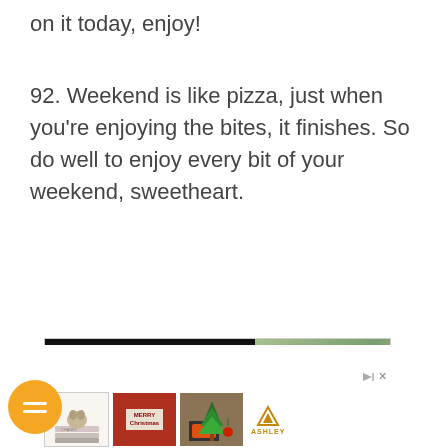on it today, enjoy!
92. Weekend is like pizza, just when you're enjoying the bites, it finishes. So do well to enjoy every bit of your weekend, sweetheart.
[Figure (advertisement): Banner ad with black left panel reading 'We believe the global pollution crisis can be solved.' in white and green bold text, right panel showing a worker in hard hat with plants. Below are three thumbnail images (dog on Chanel books, Merry Christmas sign, Christmas tree with fireplace) and an Ashley furniture logo with Ad X marker.]